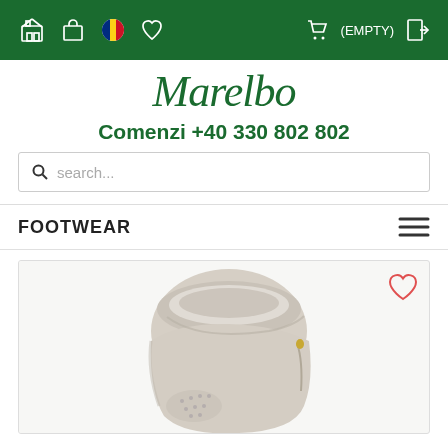Navigation bar with icons: home, bag, Romanian flag, heart, cart (EMPTY), login
Marelbo
Comenzi +40 330 802 802
search...
FOOTWEAR
[Figure (photo): Close-up photo of a light beige/cream leather ankle boot with perforated detail and fleece lining, partially visible from above]